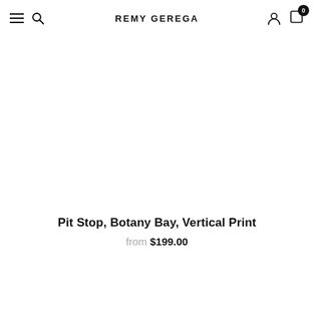REMY GEREGA
Pit Stop, Botany Bay, Vertical Print
from $199.00